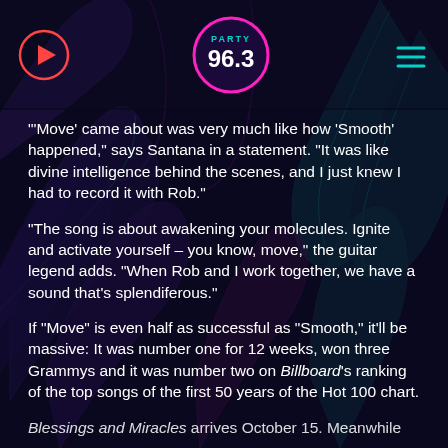[Figure (logo): Party 96.3 radio station logo — circular logo with pink border, teal 'PARTY' text, white '96.3' in bold]
"'Move' came about was very much like how 'Smooth' happened," says Santana in a statement. "It was like divine intelligence behind the scenes, and I just knew I had to record it with Rob."
"The song is about awakening your molecules. Ignite and activate yourself – you know, move," the guitar legend adds. "When Rob and I work together, we have a sound that's splendiferous."
If "Move" is even half as successful as "Smooth," it'll be massive: It was number one for 12 weeks, won three Grammys and it was number two on Billboard's ranking of the top songs of the first 50 years of the Hot 100 chart.
Blessings and Miracles arrives October 15. Meanwhile